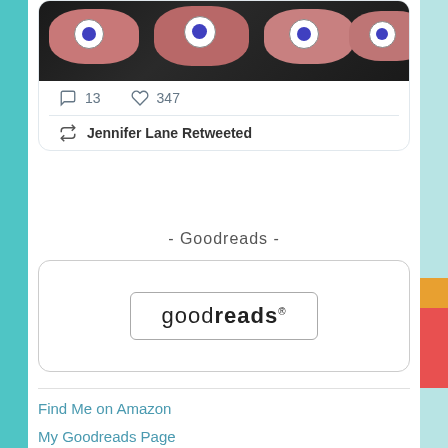[Figure (screenshot): Tweet card showing a photo of meat pieces with plastic googly eyes on them in a dark tray. Below the image are action icons showing 13 comments and 347 likes.]
Jennifer Lane Retweeted
- Goodreads -
[Figure (logo): Goodreads logo inside a rounded rectangle border]
Find Me on Amazon
My Goodreads Page